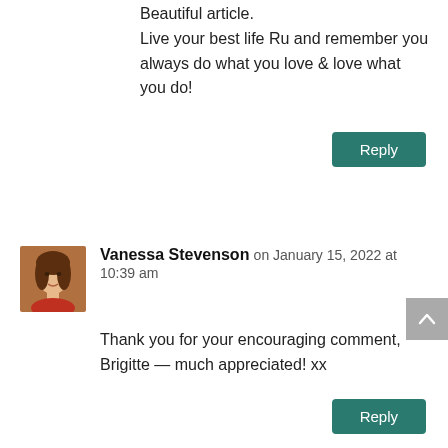Beautiful article.
Live your best life Ru and remember you always do what you love & love what you do!
Reply
Vanessa Stevenson on January 15, 2022 at 10:39 am
Thank you for your encouraging comment, Brigitte — much appreciated! xx
Reply